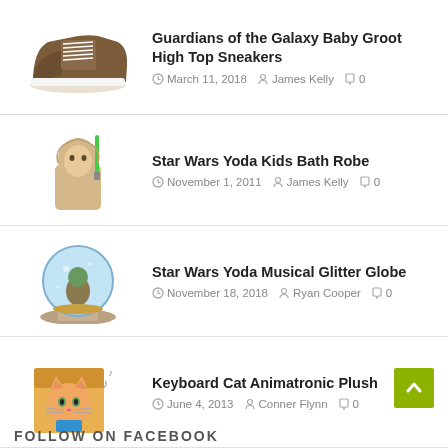Guardians of the Galaxy Baby Groot High Top Sneakers — March 11, 2018 — James Kelly — 0 comments
Star Wars Yoda Kids Bath Robe — November 1, 2011 — James Kelly — 0 comments
Star Wars Yoda Musical Glitter Globe — November 18, 2018 — Ryan Cooper — 0 comments
Keyboard Cat Animatronic Plush — June 4, 2013 — Conner Flynn — 0 comments
FOLLOW ON FACEBOOK